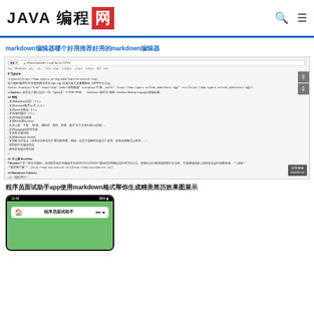JAVA 编程网
markdown编辑器哪个好用推荐好用的markdown编辑器
[Figure (screenshot): Screenshot of a browser showing a markdown editor article page with Chinese text, code examples, feature list including Markdown support, math formulas, multiple themes, Chinese interface. Watermark shows 推荐JAVA www.lit.net]
程序员面试助手app使用markdown格式帮你生成精美简历效果图展示
[Figure (screenshot): Mobile phone screenshot showing app named 程序员面试助手 with green background, time 12:49, battery 88%]